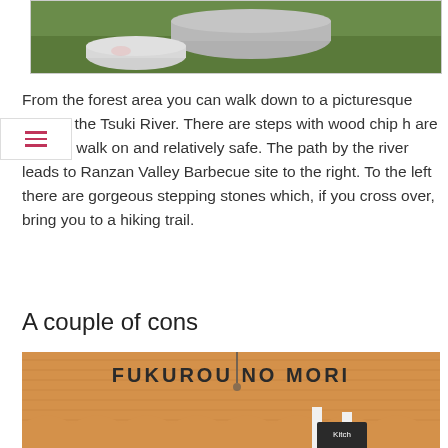[Figure (photo): Top portion of a photo showing outdoor furniture covered with grey/white covers on a grassy green hillside background.]
From the forest area you can walk down to a picturesque area of the Tsuki River. There are steps with wood chip h are easy to walk on and relatively safe. The path by the river leads to Ranzan Valley Barbecue site to the right. To the left there are gorgeous stepping stones which, if you cross over, bring you to a hiking trail.
A couple of cons
[Figure (photo): Exterior of a wooden cabin-style building with natural wood paneling and a sign reading 'FUKUROU NO MORI'. Below the roofline are decorative scalloped wooden trim elements and white posts, with a hanging sign partially visible that reads 'Kitch...']